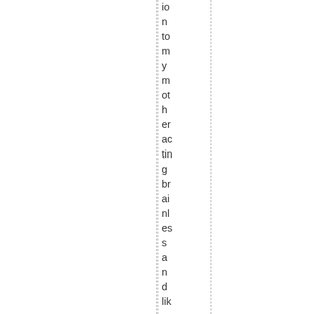ion to my mother acting brainless and like a 5th grader, I